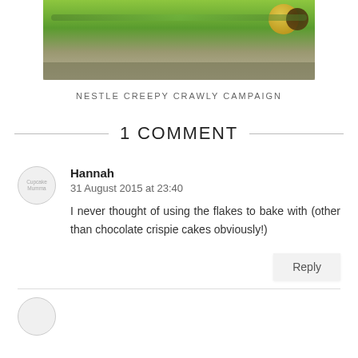[Figure (photo): A photo showing grass turf with decorative football/bug characters, part of the Nestle Creepy Crawly Campaign]
NESTLE CREEPY CRAWLY CAMPAIGN
1 COMMENT
Hannah
31 August 2015 at 23:40
I never thought of using the flakes to bake with (other than chocolate crispie cakes obviously!)